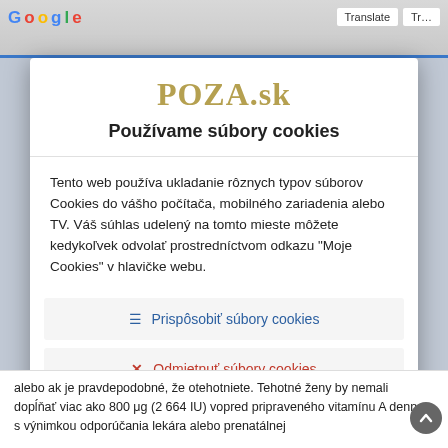[Figure (screenshot): Browser chrome top bar with Google logo partially visible and navigation elements]
POZA.sk
Používame súbory cookies
Tento web používa ukladanie rôznych typov súborov Cookies do vášho počítača, mobilného zariadenia alebo TV. Váš súhlas udelený na tomto mieste môžete kedykoľvek odvolať prostredníctvom odkazu "Moje Cookies" v hlavičke webu.
≡ Prispôsobiť súbory cookies
× Odmietnuť súbory cookies
✓ Prijať všetky súbory cookies
ⓘ Získajte viac informácií
alebo ak je pravdepodobné, že otehotniete. Tehotné ženy by nemali dopĺňať viac ako 800 μg (2 664 IU) vopred pripraveného vitamínu A denne, s výnimkou odporúčania lekára alebo prenatálnej